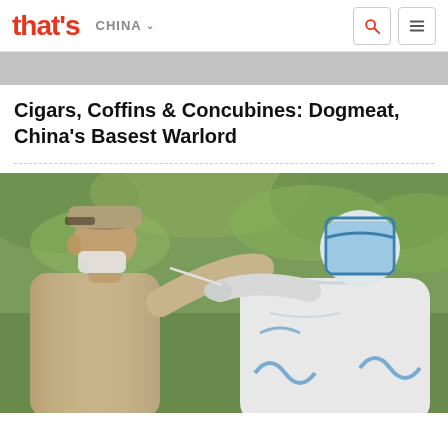that's | CHINA
Cigars, Coffins & Concubines: Dogmeat, China's Basest Warlord
[Figure (photo): A person in a tan shirt and baseball cap facing away from the camera, with a healthcare worker in full white PPE hazmat suit and blue face shield administering a nasal swab COVID test, outdoor setting with green foliage in background.]